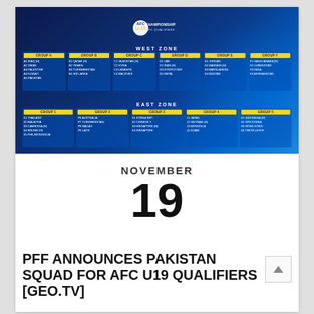[Figure (infographic): AFC U-19 Championship AFC Qualifiers draw bracket showing West Zone and East Zone groups with participating countries listed in colored group boxes on a dark blue background.]
NOVEMBER
19
PFF ANNOUNCES PAKISTAN SQUAD FOR AFC U19 QUALIFIERS [GEO.TV]